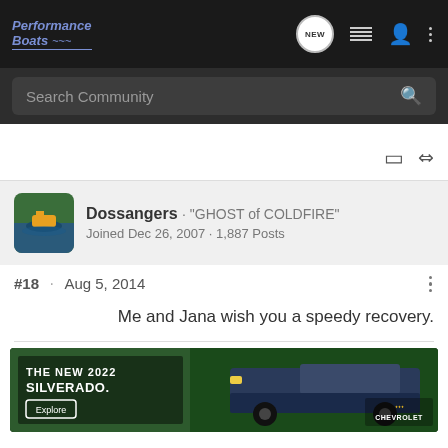[Figure (screenshot): Performance Boats logo — stylized italic text with wave underline]
Search Community
[Figure (photo): User avatar — green boat on water]
Dossangers · "GHOST of COLDFIRE"
Joined Dec 26, 2007 · 1,887 Posts
#18 · Aug 5, 2014
Me and Jana wish you a speedy recovery.
[Figure (photo): Chevrolet advertisement — The New 2022 Silverado with Explore button and Chevrolet logo]